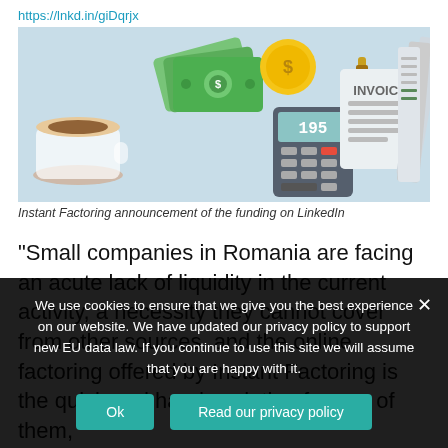https://lnkd.in/giDqrjx
[Figure (illustration): Illustration for Instant Factoring LinkedIn post showing icons of money bills, a coin, a calculator showing 195, an invoice clipboard, and a ledger/notepad on a light blue background]
Instant Factoring announcement of the funding on LinkedIn
“Small companies in Romania are facing an acute lack of liquidity in the current activity, a necessity they cannot cover from other sources, and the online factoring offered by Instant Factoring is the quick and handy solution for any of them,
We use cookies to ensure that we give you the best experience on our website. We have updated our privacy policy to support new EU data law. If you continue to use this site we will assume that you are happy with it.